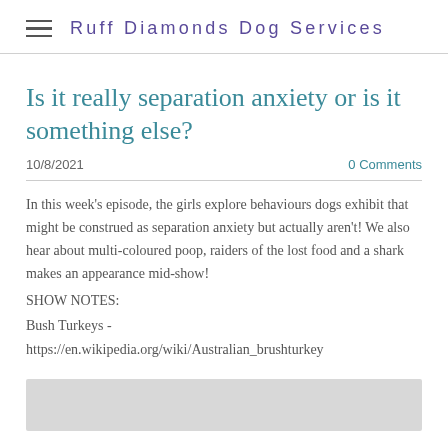Ruff Diamonds Dog Services
Is it really separation anxiety or is it something else?
10/8/2021   0 Comments
In this week's episode, the girls explore behaviours dogs exhibit that might be construed as separation anxiety but actually aren't! We also hear about multi-coloured poop, raiders of the lost food and a shark makes an appearance mid-show! SHOW NOTES: Bush Turkeys - https://en.wikipedia.org/wiki/Australian_brushturkey
[Figure (other): Grey placeholder image at bottom of page]